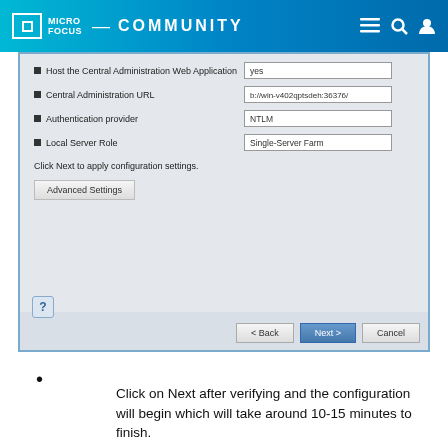MICRO FOCUS COMMUNITY
[Figure (screenshot): SharePoint configuration wizard dialog showing form fields: Host the Central Administration Web Application (yes), Central Administration URL (b://win-v402qptsdeh:36376/), Authentication provider (NTLM), Local Server Role (Single-Server Farm). Text reads: Click Next to apply configuration settings. Buttons: Advanced Settings, Back, Next, Cancel. Help icon at bottom left.]
Click on Next after verifying and the configuration will begin which will take around 10-15 minutes to finish.